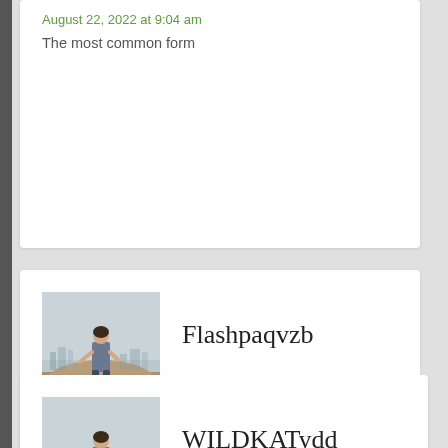August 22, 2022 at 9:04 am
The most common form
[Figure (photo): Avatar photo: person standing on hill overlooking city]
Flashpaqvzb
August 22, 2022 at 9:08 am
among them acquired "Moral
[Figure (photo): Avatar photo: person standing on hill overlooking city]
WILDKATydd
August 22, 2022 at 9:36 am